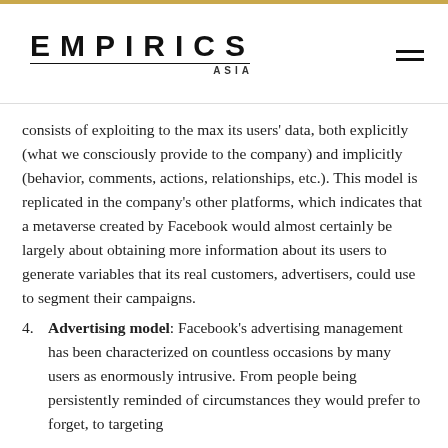EMPIRICS ASIA
consists of exploiting to the max its users' data, both explicitly (what we consciously provide to the company) and implicitly (behavior, comments, actions, relationships, etc.). This model is replicated in the company's other platforms, which indicates that a metaverse created by Facebook would almost certainly be largely about obtaining more information about its users to generate variables that its real customers, advertisers, could use to segment their campaigns.
4. Advertising model: Facebook's advertising management has been characterized on countless occasions by many users as enormously intrusive. From people being persistently reminded of circumstances they would prefer to forget, to targeting